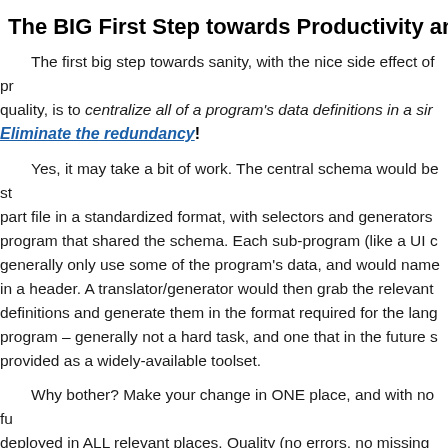The BIG First Step towards Productivity and Q...
The first big step towards sanity, with the nice side effect of pr... quality, is to centralize all of a program's data definitions in a sir... Eliminate the redundancy!
Yes, it may take a bit of work. The central schema would be st... part file in a standardized format, with selectors and generators ... program that shared the schema. Each sub-program (like a UI c... generally only use some of the program's data, and would name... in a header. A translator/generator would then grab the relevant... definitions and generate them in the format required for the lang... program – generally not a hard task, and one that in the future s... provided as a widely-available toolset.
Why bother? Make your change in ONE place, and with no fu... deployed in ALL relevant places. Quality (no errors, no missing... ...and productivity (be owed)...